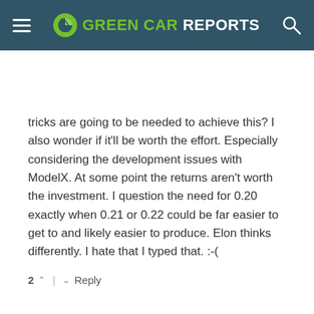GREEN CAR REPORTS
tricks are going to be needed to achieve this? I also wonder if it'll be worth the effort. Especially considering the development issues with ModelX. At some point the returns aren't worth the investment. I question the need for 0.20 exactly when 0.21 or 0.22 could be far easier to get to and likely easier to produce. Elon thinks differently. I hate that I typed that. :-(
2 ^ | v Reply